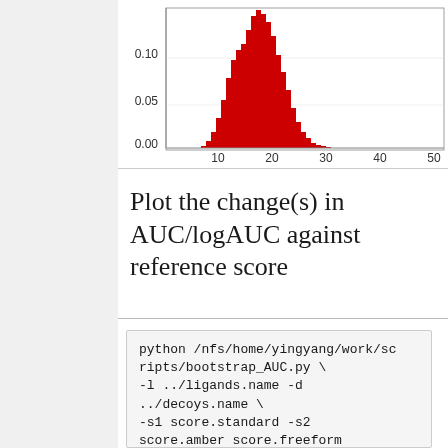[Figure (continuous-plot): Partial histogram showing a red distribution curve peaking around x=12-15, with y-axis values 0.00, 0.05, 0.10 and x-axis values 10, 20, 30, 40, 50 visible. This is a cropped/partial view of the chart.]
Plot the change(s) in AUC/logAUC against reference score
python /nfs/home/yingyang/work/scripts/bootstrap_AUC.py \
-l ../ligands.name -d ../decoys.name \
-s1 score.standard -s2 score.amber score.freeform \
-p compare